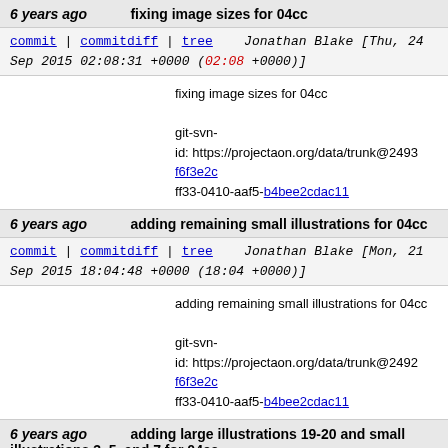6 years ago   fixing image sizes for 04cc
commit | commitdiff | tree   Jonathan Blake [Thu, 24 Sep 2015 02:08:31 +0000 (02:08 +0000)]
fixing image sizes for 04cc

git-svn-id: https://projectaon.org/data/trunk@2493 f6f3e2c...ff33-0410-aaf5-b4bee2cdac11
6 years ago   adding remaining small illustrations for 04cc
commit | commitdiff | tree   Jonathan Blake [Mon, 21 Sep 2015 18:04:48 +0000 (18:04 +0000)]
adding remaining small illustrations for 04cc

git-svn-id: https://projectaon.org/data/trunk@2492 f6f3e2c...ff33-0410-aaf5-b4bee2cdac11
6 years ago   adding large illustrations 19-20 and small illustrations 3, 5, and 7 for 04cc
commit | commitdiff | tree   Jonathan Blake [Sat, 19 Sep 2015 19:37:17 +0000 (19:37 +0000)]